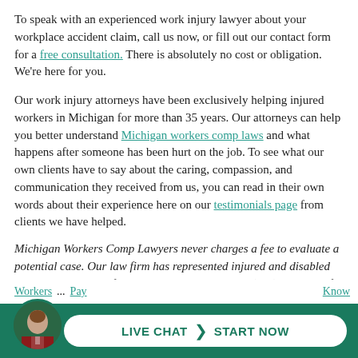To speak with an experienced work injury lawyer about your workplace accident claim, call us now, or fill out our contact form for a free consultation. There is absolutely no cost or obligation. We're here for you.
Our work injury attorneys have been exclusively helping injured workers in Michigan for more than 35 years. Our attorneys can help you better understand Michigan workers comp laws and what happens after someone has been hurt on the job. To see what our own clients have to say about the caring, compassion, and communication they received from us, you can read in their own words about their experience here on our testimonials page from clients we have helped.
Michigan Workers Comp Lawyers never charges a fee to evaluate a potential case. Our law firm has represented injured and disabled workers exclusively for more than 35 years. Call (844) 316-8033 for a free consultation today.
Related information:
Workers ... Pay ... Know
[Figure (other): Live chat button with avatar photo of a man in a suit, green background bar, white rounded button reading LIVE CHAT > START NOW]